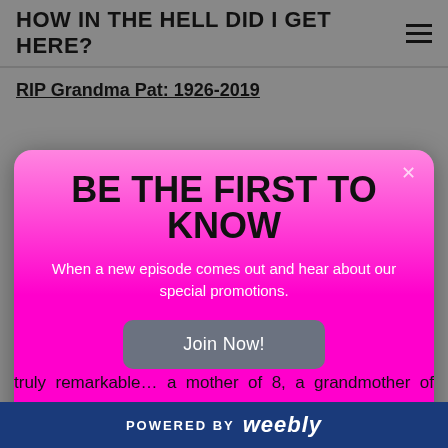HOW IN THE HELL DID I GET HERE?
RIP Grandma Pat: 1926-2019
[Figure (screenshot): Popup modal overlay with gradient pink background reading 'BE THE FIRST TO KNOW — When a new episode comes out and hear about our special promotions.' and a 'Join Now!' button.]
truly remarkable… a mother of 8, a grandmother of many including three great, great, great grandchildren. Sadly we lost her in early February of 2019, less than 48 hours
POWERED BY weebly